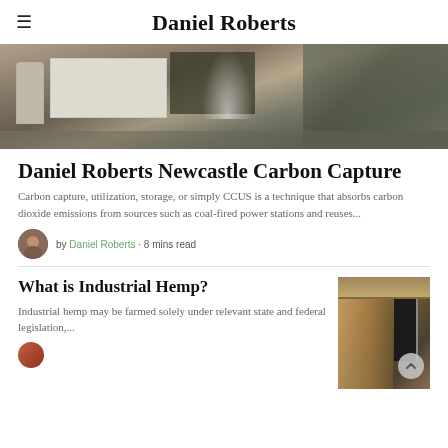Daniel Roberts
[Figure (photo): Aerial view of an industrial facility with large white building, silos, dark solar panels, and smoke or steam rising, surrounded by infrastructure]
Daniel Roberts Newcastle Carbon Capture
Carbon capture, utilization, storage, or simply CCUS is a technique that absorbs carbon dioxide emissions from sources such as coal-fired power stations and reuses...
by Daniel Roberts · 8 mins read
What is Industrial Hemp?
Industrial hemp may be farmed solely under relevant state and federal legislation,...
[Figure (photo): Interior of a building under construction showing wooden beam framing, an open doorway, and earthen or hemp walls]